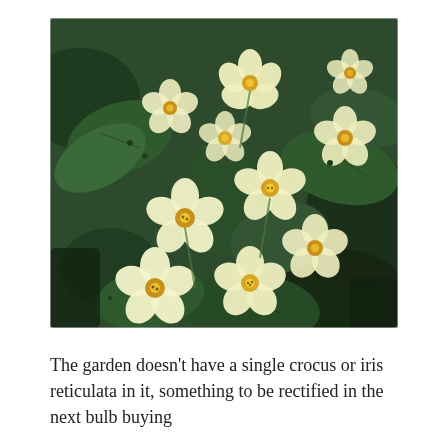[Figure (photo): Close-up photograph of pale yellow primrose flowers (Primula vulgaris) with yellow centers, surrounded by dark green textured leaves. Multiple blooms clustered together, photographed from above in a garden setting.]
The garden doesn't have a single crocus or iris reticulata in it, something to be rectified in the next bulb buying